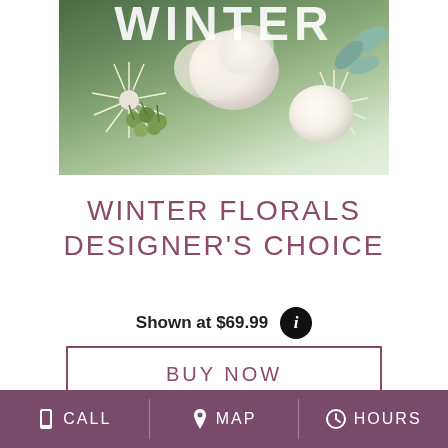[Figure (photo): Winter floral arrangement with white roses, white spider chrysanthemums, green hypericum berries, and eucalyptus foliage. Text overlay reads WINTER at the top.]
WINTER FLORALS DESIGNER'S CHOICE
Shown at $69.99
BUY NOW
CALL  MAP  HOURS